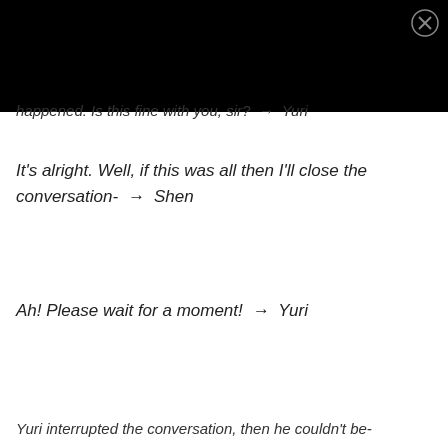[Figure (other): Black bar covering top portion of the page, representing an image or video thumbnail area with a close/X button in the top right corner]
happened. Is this fine with you, sir? → Yuri
It's alright. Well, if this was all then I'll close the conversation- → Shen
Ah! Please wait for a moment! → Yuri
Yuri interrupted the conversation, then he couldn't be-